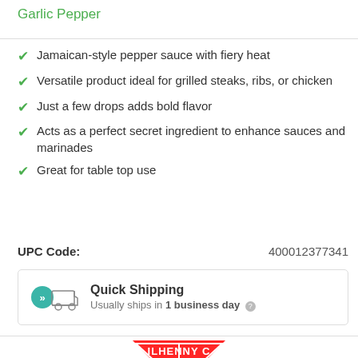Garlic Pepper
Jamaican-style pepper sauce with fiery heat
Versatile product ideal for grilled steaks, ribs, or chicken
Just a few drops adds bold flavor
Acts as a perfect secret ingredient to enhance sauces and marinades
Great for table top use
UPC Code: 400012377341
Quick Shipping — Usually ships in 1 business day
[Figure (logo): Partially visible McIlhenny Co. logo — red triangle with brand name]